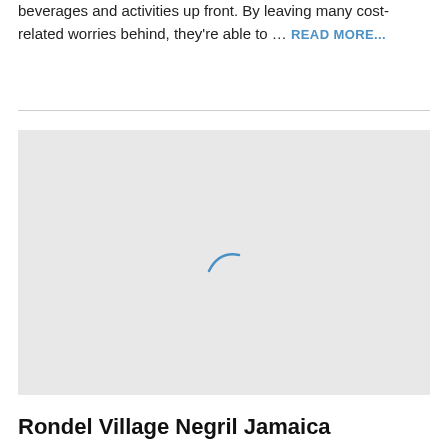beverages and activities up front. By leaving many cost-related worries behind, they're able to … READ MORE...
[Figure (other): A loading map embed with a light gray background and a small blue curved loading spinner arc in the center]
Rondel Village Negril Jamaica